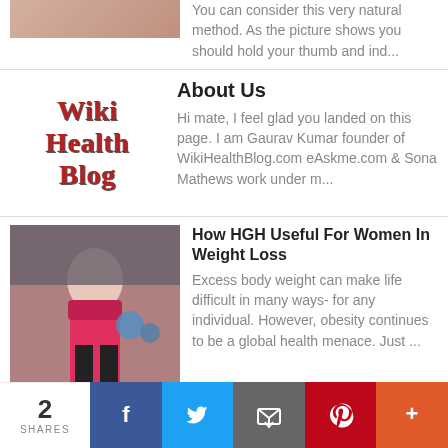You can consider this very natural method. As the picture shows you should hold your thumb and ind...
[Figure (photo): Wiki Health Blog logo with red serif text]
About Us
Hi mate, I feel glad you landed on this page. I am Gaurav Kumar founder of WikiHealthBlog.com eAskme.com & Sona Mathews work under m...
[Figure (photo): Woman in red sports bra holding a water bottle]
How HGH Useful For Women In Weight Loss
Excess body weight can make life difficult in many ways- for any individual. However, obesity continues to be a global health menace. Just ...
[Figure (photo): Golfer on a golf course]
5 Essential Stretches To Prep You For The Links
The weather's heating up, so it is time to dust off those clubs, take your custom golf cart out of storage, and hit the golf course. Howe...
2 SHARES  Facebook  Twitter  Email  Pinterest  More